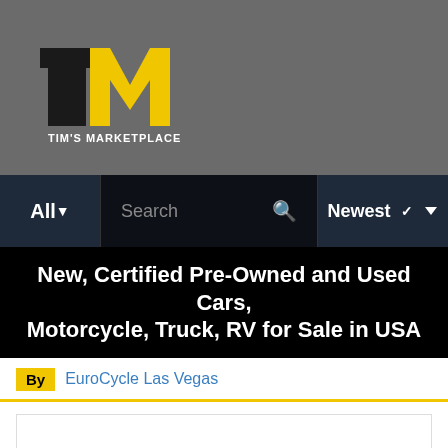[Figure (logo): Tim's Marketplace logo - yellow and black TM lettermark with text 'TIM'S MARKETPLACE' below]
All ▼   Search   🔍   Newest ▼
New, Certified Pre-Owned and Used Cars, Motorcycle, Truck, RV for Sale in USA
By  EuroCycle Las Vegas
[Figure (other): Loading spinner animation - circular dots in various sizes and gray shades indicating content is loading]